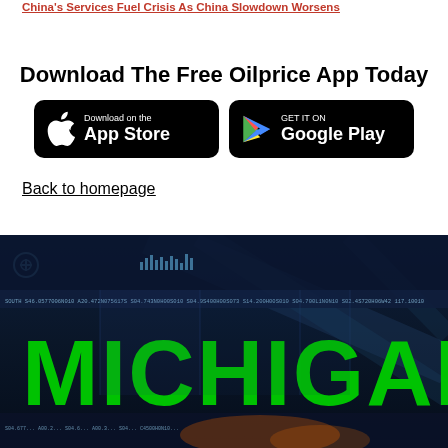China's Services Fuel Crisis As China Slowdown Worsens
Download The Free Oilprice App Today
[Figure (screenshot): App Store and Google Play download buttons on black rounded rectangle backgrounds]
Back to homepage
[Figure (screenshot): Dark background image with large green bold text reading MICHIGAN, overlaid on what appears to be a data/map interface with various numeric coordinates along the top]